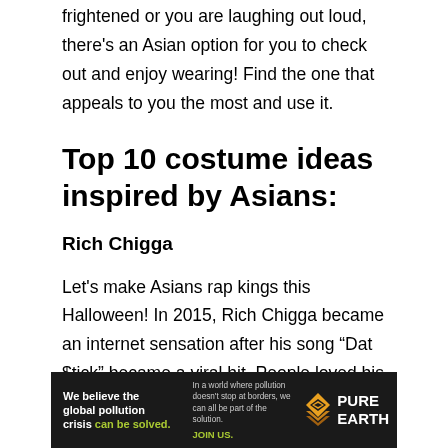frightened or you are laughing out loud, there's an Asian option for you to check out and enjoy wearing! Find the one that appeals to you the most and use it.
Top 10 costume ideas inspired by Asians:
Rich Chigga
Let's make Asians rap kings this Halloween! In 2015, Rich Chigga became an internet sensation after his song “Dat $tick” became a viral hit. People loved his preppy style in the video (particularly his fanny pack) because it was paired with his rapping.
[Figure (other): Advertisement banner for Pure Earth organization: 'We believe the global pollution crisis can be solved. In a world where pollution doesn't stop at borders, we can all be part of the solution. JOIN US.' with Pure Earth logo.]